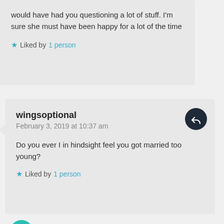would have had you questioning a lot of stuff. I'm sure she must have been happy for a lot of the time
Liked by 1 person
wingsoptional
February 3, 2019 at 10:37 am
Do you ever I in hindsight feel you got married too young?
Liked by 1 person
A Dating Dad
February 3, 2019 at 10:42 am
Didn't get married until I was 27, and we'd been together for six years, and had two kids at that